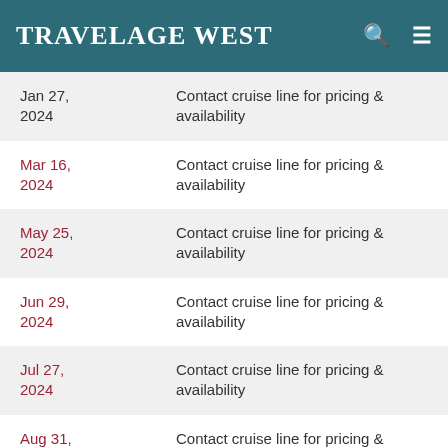TravelAge West
| Date | Availability |
| --- | --- |
| Jan 27, 2024 | Contact cruise line for pricing & availability |
| Mar 16, 2024 | Contact cruise line for pricing & availability |
| May 25, 2024 | Contact cruise line for pricing & availability |
| Jun 29, 2024 | Contact cruise line for pricing & availability |
| Jul 27, 2024 | Contact cruise line for pricing & availability |
| Aug 31, 2024 | Contact cruise line for pricing & availability |
Departing from Brisbane, Queensland, Australia
Departure Date 01/27/2024